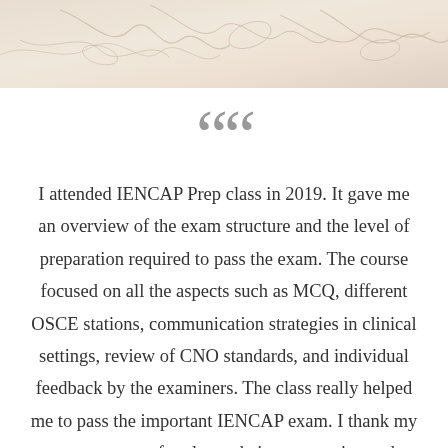[Figure (photo): Decorative top banner image showing soft beige/cream colored abstract organic shapes or fabric folds]
““
I attended IENCAP Prep class in 2019. It gave me an overview of the exam structure and the level of preparation required to pass the exam. The course focused on all the aspects such as MCQ, different OSCE stations, communication strategies in clinical settings, review of CNO standards, and individual feedback by the examiners. The class really helped me to pass the important IENCAP exam. I thank my case manager for always being supportive and encouraging in my journey to become a Canadian RN. My CARE experience was highly positive, unique and rich filled